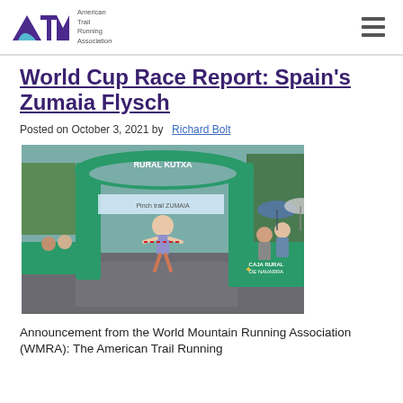ATRA — American Trail Running Association
World Cup Race Report: Spain's Zumaia Flysch
Posted on October 3, 2021 by Richard Bolt
[Figure (photo): Runner crossing the finish line under a green inflatable arch reading RURAL KUTXA at the Zumaia trail race. Spectators and green barriers visible in background.]
Announcement from the World Mountain Running Association (WMRA): The American Trail Running